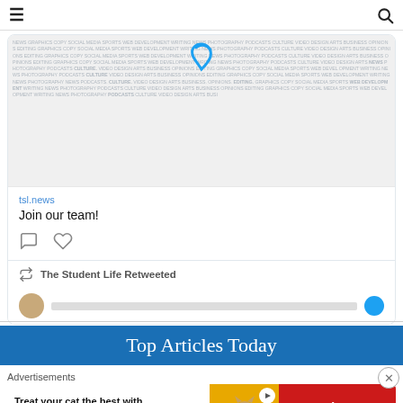≡  [search icon]
[Figure (screenshot): Social media tweet card from tsl.news showing a word cloud image with the TSL logo (blue bird/checkmark), handle tsl.news, tweet text 'Join our team!', comment and like icons, and a retweet notification 'The Student Life Retweeted' with a partial avatar below.]
Top Articles Today
Advertisements
[Figure (photo): Advertisement banner: 'Treat your cat the best with Delectables cat treats' on left white section, cat image in yellow/orange center, Walmart logo on red right section.]